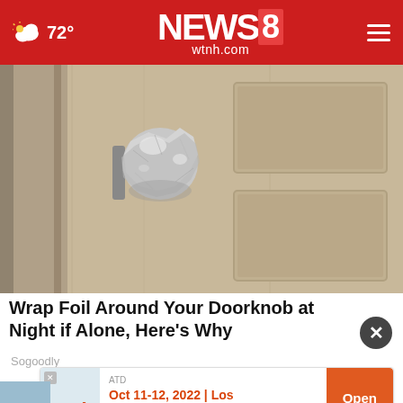72° NEWS8 wtnh.com
[Figure (photo): Close-up photo of a door knob wrapped in aluminum/tin foil, on a wooden paneled interior door with warm tan/brown color.]
Wrap Foil Around Your Doorknob at Night if Alone, Here's Why
Sogoodly
ATD
Oct 11-12, 2022 | Los Angeles
Open